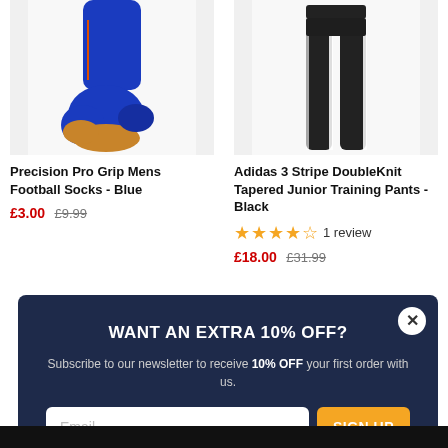[Figure (photo): Blue football/soccer grip socks with orange sole detail, shown from behind at ankle level]
Precision Pro Grip Mens Football Socks - Blue
£3.00 £9.99
[Figure (photo): Black Adidas 3-stripe tapered training pants for juniors, shown from waist to ankle]
Adidas 3 Stripe DoubleKnit Tapered Junior Training Pants - Black
★★★★☆ 1 review
£18.00 £31.99
WANT AN EXTRA 10% OFF?
Subscribe to our newsletter to receive 10% OFF your first order with us.
*Exclusions apply. Bikes and frames are not part of this offer. See our privacy policy for full details of how we use your data.